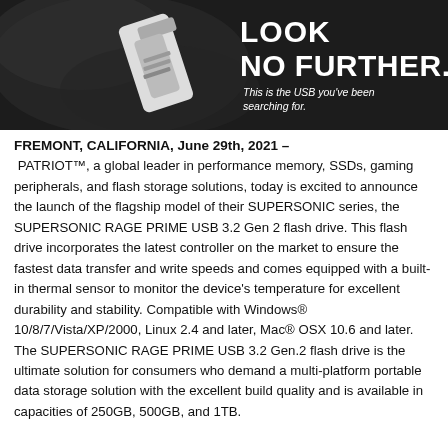[Figure (photo): Dark promotional image of a USB flash drive with text 'LOOK NO FURTHER. This is the USB you've been searching for.' on a dark smoky background]
FREMONT, CALIFORNIA, June 29th, 2021 – PATRIOT™, a global leader in performance memory, SSDs, gaming peripherals, and flash storage solutions, today is excited to announce the launch of the flagship model of their SUPERSONIC series, the SUPERSONIC RAGE PRIME USB 3.2 Gen 2 flash drive. This flash drive incorporates the latest controller on the market to ensure the fastest data transfer and write speeds and comes equipped with a built-in thermal sensor to monitor the device's temperature for excellent durability and stability. Compatible with Windows® 10/8/7/Vista/XP/2000, Linux 2.4 and later, Mac® OSX 10.6 and later. The SUPERSONIC RAGE PRIME USB 3.2 Gen.2 flash drive is the ultimate solution for consumers who demand a multi-platform portable data storage solution with the excellent build quality and is available in capacities of 250GB, 500GB, and 1TB.